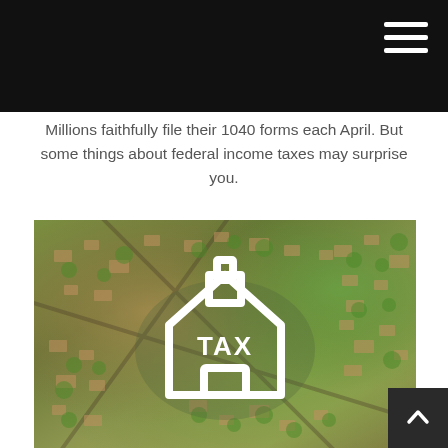Millions faithfully file their 1040 forms each April. But some things about federal income taxes may surprise you.
[Figure (photo): Aerial view of a residential suburban neighborhood with houses, streets, and trees, overlaid with a white house icon containing the word TAX in bold white letters.]